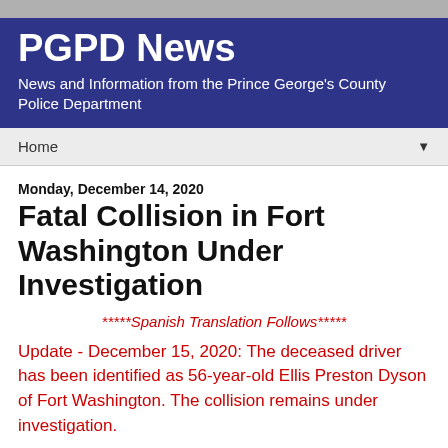PGPD News
News and Information from the Prince George's County Police Department
Home
Monday, December 14, 2020
Fatal Collision in Fort Washington Under Investigation
*****Spanish Translation Follows*****
Update - December 15, 2020: The deceased driver has been identified as 56-year-old Ellis Preston Dyson of Fort Washington. The collision remains under investigation.